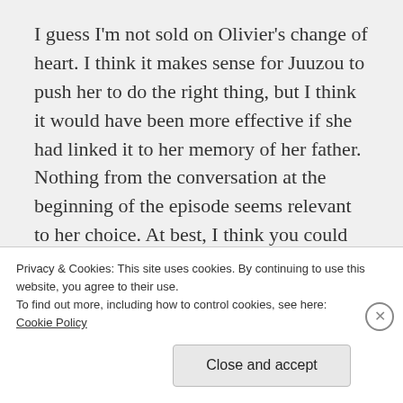I guess I'm not sold on Olivier's change of heart. I think it makes sense for Juuzou to push her to do the right thing, but I think it would have been more effective if she had linked it to her memory of her father. Nothing from the conversation at the beginning of the episode seems relevant to her choice. At best, I think you could argue that she chooses to go back to the plan she told her father, reaching a position of power and dealing with Armed
Privacy & Cookies: This site uses cookies. By continuing to use this website, you agree to their use.
To find out more, including how to control cookies, see here:
Cookie Policy
Close and accept